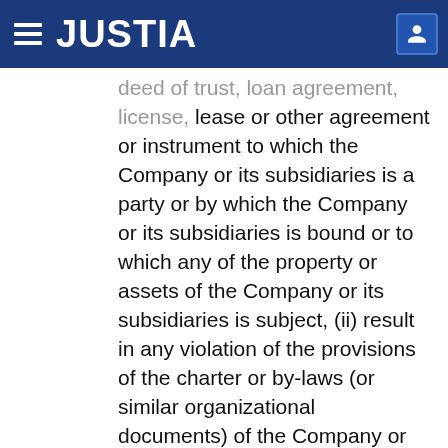JUSTIA
deed of trust, loan agreement, license, lease or other agreement or instrument to which the Company or its subsidiaries is a party or by which the Company or its subsidiaries is bound or to which any of the property or assets of the Company or its subsidiaries is subject, (ii) result in any violation of the provisions of the charter or by-laws (or similar organizational documents) of the Company or its subsidiaries or (iii) result in any violation of any statute or any judgment, order, decree, rule or regulation of any court or governmental agency or body having jurisdiction over the Company or its subsidiaries or any of their respective properties or assets, except, with respect to